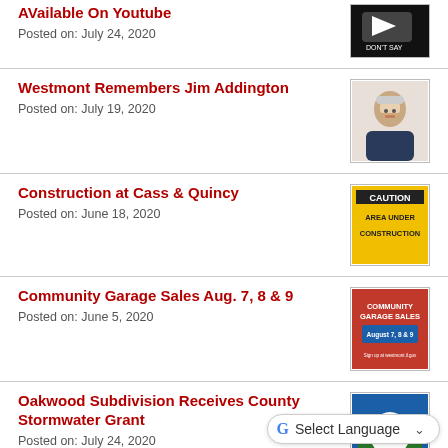AVailable On Youtube
Posted on: July 24, 2020
[Figure (illustration): Black chat bubble with 'DON'T SAY' text on dark background]
Westmont Remembers Jim Addington
Posted on: July 19, 2020
[Figure (photo): Portrait photo of an older gentleman with glasses and white hair in a suit]
Construction at Cass & Quincy
Posted on: June 18, 2020
[Figure (illustration): Yellow caution sign reading CAUTION AREA UNDER CONSTRUCTION]
Community Garage Sales Aug. 7, 8 & 9
Posted on: June 5, 2020
[Figure (illustration): Community Garage Sales sign for August 7, 8 & 9 with red and blue colors]
Oakwood Subdivision Receives County Stormwater Grant
Posted on: July 24, 2020
[Figure (logo): Stormwater management logo with blue/green water drop and blue/green background]
Westmont Retail Business Grant Program